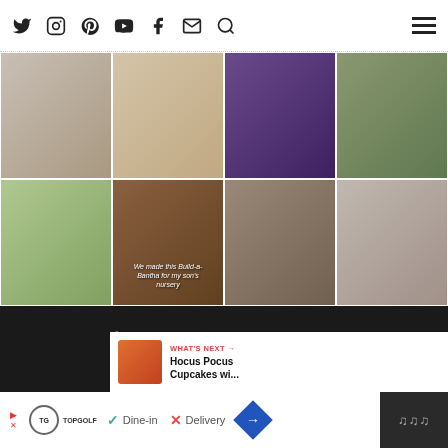Navigation icons: Twitter, Instagram, Pinterest, YouTube, Facebook, Email, Search | Hamburger menu
[Figure (photo): 2x4 grid of 8 Instagram-style photos: row 1: fashion/clothing photo, baby with wooden item, purple Halloween cups, group of people outdoors; row 2: woman holding gold item, Build-a-Rantha stuffed animal with text overlay, chocolate Halloween cookies on plate, child in Jurassic Park hoodie]
© 2022 POPCORNER REVIEWS · PRIVACY POLICY · DISCLAIMER
EXCLUSIVE MEMBER OF MEDIAVINE HOME
THEME CREATED BY pipdig
[Figure (screenshot): What's Next panel with thumbnail of orange Halloween cupcake and text: WHAT'S NEXT → Hocus Pocus Cupcakes wi...]
[Figure (screenshot): Advertisement bar: Topgolf logo with play icon, checkmark Dine-in X Delivery options, blue arrow navigation button, dark right panel with audio/wave icon]